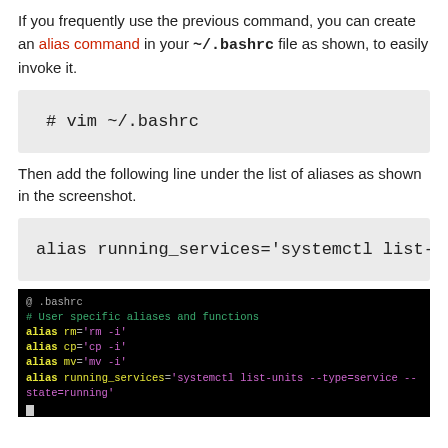If you frequently use the previous command, you can create an alias command in your ~/.bashrc file as shown, to easily invoke it.
[Figure (screenshot): Code block showing: # vim ~/.bashrc]
Then add the following line under the list of aliases as shown in the screenshot.
[Figure (screenshot): Code block showing: alias running_services='systemctl list-u...]
[Figure (screenshot): Terminal screenshot showing .bashrc file with alias definitions including alias running_services='systemctl list-units --type=service --state=running']